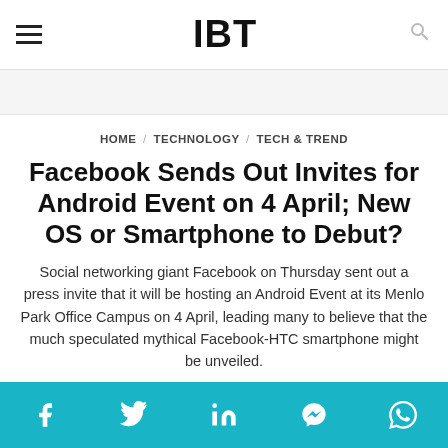IBT
HOME / TECHNOLOGY / TECH & TREND
Facebook Sends Out Invites for Android Event on 4 April; New OS or Smartphone to Debut?
Social networking giant Facebook on Thursday sent out a press invite that it will be hosting an Android Event at its Menlo Park Office Campus on 4 April, leading many to believe that the much speculated mythical Facebook-HTC smartphone might be unveiled.
Share bar: Facebook, Twitter, LinkedIn, Messenger, WhatsApp